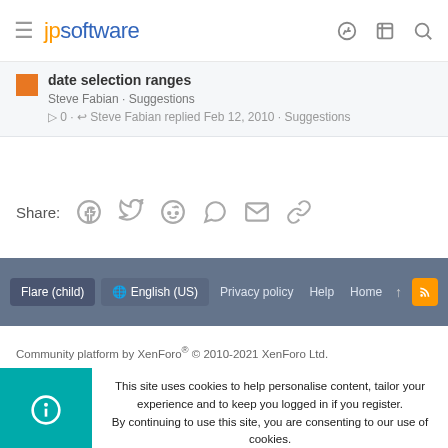jpsoftware
date selection ranges
Steve Fabian · Suggestions
0 · Steve Fabian replied Feb 12, 2010 · Suggestions
Share:
Flare (child)  English (US)  Privacy policy  Help  Home
Community platform by XenForo® © 2010-2021 XenForo Ltd.
This site uses cookies to help personalise content, tailor your experience and to keep you logged in if you register.
By continuing to use this site, you are consenting to our use of cookies.